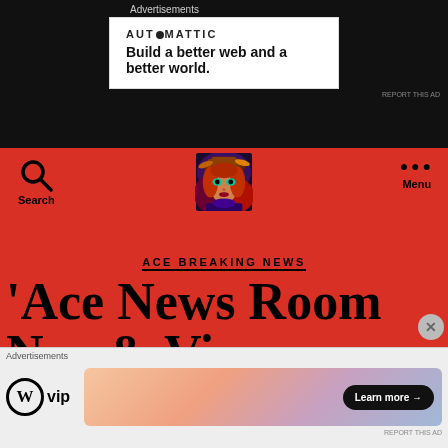Advertisements
[Figure (other): Automattic advertisement: logo and tagline 'Build a better web and a better world.']
REPORT THIS AD
[Figure (photo): Colorful portrait of a woman in elaborate hat and dramatic makeup, serving as the Ace News Room site logo]
Search
Menu
ACE BREAKING NEWS
'Ace News Room N… & Vi…
[Figure (other): WordPress VIP advertisement banner with gradient background and 'Learn more' button]
REPORT THIS AD